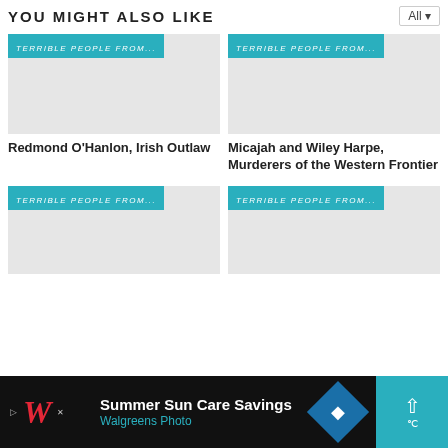YOU MIGHT ALSO LIKE
[Figure (screenshot): Card image placeholder 1 with teal tag 'TERRIBLE PEOPLE FROM...']
Redmond O'Hanlon, Irish Outlaw
[Figure (screenshot): Card image placeholder 2 with teal tag 'TERRIBLE PEOPLE FROM...']
Micajah and Wiley Harpe, Murderers of the Western Frontier
[Figure (screenshot): Card image placeholder 3 with teal tag 'TERRIBLE PEOPLE FROM...']
[Figure (screenshot): Card image placeholder 4 with teal tag 'TERRIBLE PEOPLE FROM...']
[Figure (screenshot): Walgreens advertisement banner: Summer Sun Care Savings, Walgreens Photo]